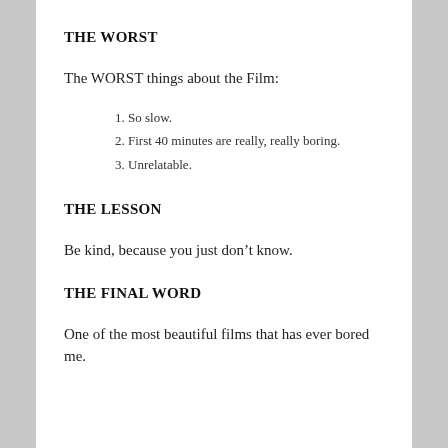THE WORST
The WORST things about the Film:
So slow.
First 40 minutes are really, really boring.
Unrelatable.
THE LESSON
Be kind, because you just don’t know.
THE FINAL WORD
One of the most beautiful films that has ever bored me.